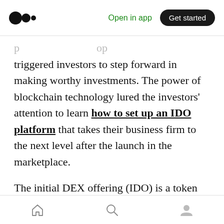Medium | Open in app | Get started
...p...g...op...triggered investors to step forward in making worthy investments. The power of blockchain technology lured the investors' attention to learn how to set up an IDO platform that takes their business firm to the next level after the launch in the marketplace.
The initial DEX offering (IDO) is a token that enables investors to launch a project via a decentralized liquidity exchange. IDO tokens are initially considered as the representations of assets in the decentralized exchange. The IDO
Home | Search | Profile